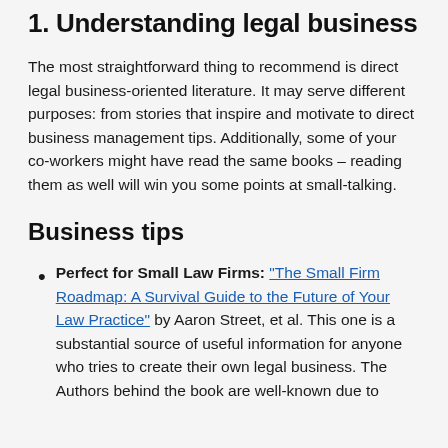1. Understanding legal business
The most straightforward thing to recommend is direct legal business-oriented literature. It may serve different purposes: from stories that inspire and motivate to direct business management tips. Additionally, some of your co-workers might have read the same books – reading them as well will win you some points at small-talking.
Business tips
Perfect for Small Law Firms: "The Small Firm Roadmap: A Survival Guide to the Future of Your Law Practice" by Aaron Street, et al. This one is a substantial source of useful information for anyone who tries to create their own legal business. The Authors behind the book are well-known due to the most attractive resources and their...